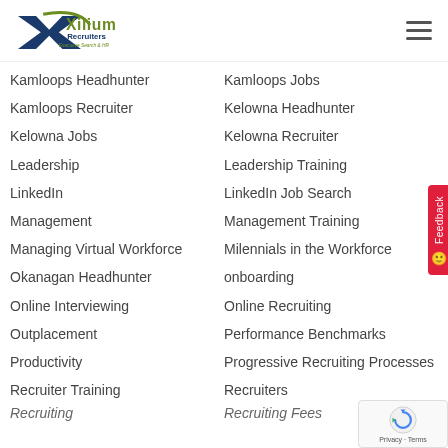Xilium Recruiters – Executive Search & HR
Kamloops Headhunter
Kamloops Jobs
Kamloops Recruiter
Kelowna Headhunter
Kelowna Jobs
Kelowna Recruiter
Leadership
Leadership Training
LinkedIn
LinkedIn Job Search
Management
Management Training
Managing Virtual Workforce
Milennials in the Workforce
Okanagan Headhunter
onboarding
Online Interviewing
Online Recruiting
Outplacement
Performance Benchmarks
Productivity
Progressive Recruiting Processes
Recruiter Training
Recruiters
Recruiting
Recruiting Fees